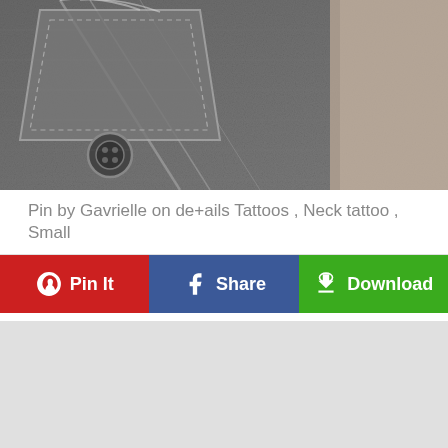[Figure (photo): Black and white close-up photo of denim jeans fabric showing pocket, seams, stitching details, and a button, with a person's arm/skin visible on the right side.]
Pin by Gavrielle on de+ails Tattoos , Neck tattoo , Small
[Figure (infographic): Three social sharing buttons: Pin It (red, Pinterest), Share (blue, Facebook), Download (green, cloud download icon)]
[Figure (other): Gray advertisement placeholder area]